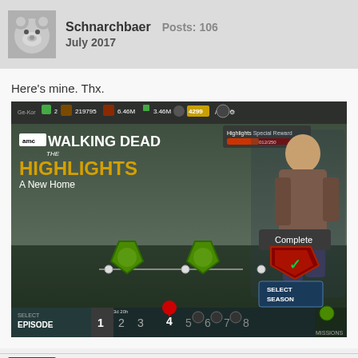Schnarchbaer  Posts: 106  July 2017
Here's mine. Thx.
[Figure (screenshot): AMC The Walking Dead mobile game screenshot showing 'Highlights - A New Home' episode select screen. Episode 4 is selected/complete with a green checkmark banner. Bottom bar shows SELECT EPISODE with numbers 1-8, 3d 20h timer above episode 4. Right side shows SELECT SEASON button and MISSIONS. A character (Glenn) runs on the right side of the screen.]